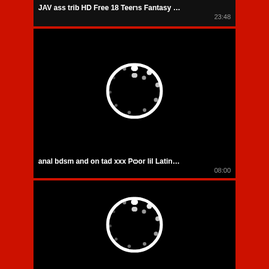JAV ass trib HD Free 18 Teens Fantasy …
23:48
[Figure (screenshot): Black video thumbnail with a circular loading spinner (white ring with dots arranged in a circle) centered on a black background]
anal bdsm and on tad xxx Poor lil Latin…
08:00
[Figure (screenshot): Black video thumbnail with a circular loading spinner (white ring with dots arranged in a circle) centered on a black background, partially cropped]